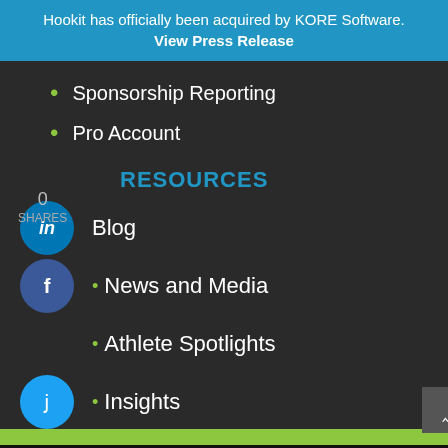Hookit has officially been acquired by KORE Software. View Press Release
Sponsorship Reporting
Pro Account
0 SHARES
RESOURCES
Blog
News and Media
Athlete Spotlights
Insights
This site uses cookies to provide you with a great user experience. By using Hookit, you accept our use of cookies.
Ok  Privacy policy